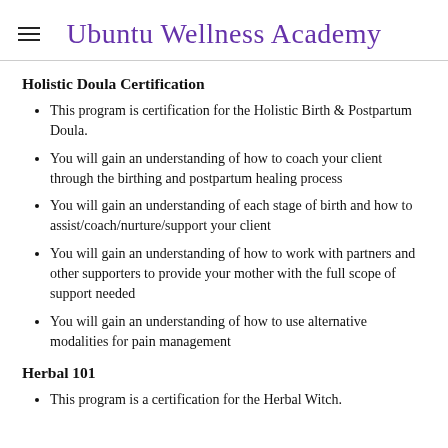Ubuntu Wellness Academy
Holistic Doula Certification
This program is certification for the Holistic Birth & Postpartum Doula.
You will gain an understanding of how to coach your client through the birthing and postpartum healing process
You will gain an understanding of each stage of birth and how to assist/coach/nurture/support your client
You will gain an understanding of how to work with partners and other supporters to provide your mother with the full scope of support needed
You will gain an understanding of how to use alternative modalities for pain management
Herbal 101
This program is a certification for the Herbal Witch.